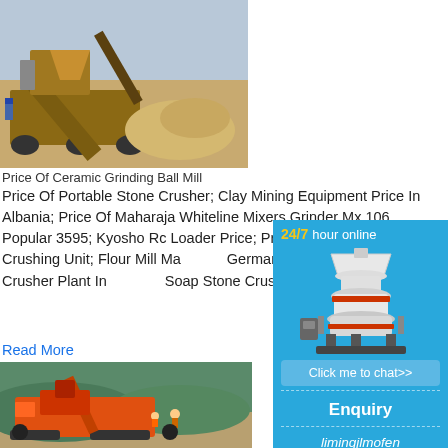[Figure (photo): Industrial stone crushing/screening machine with conveyor belt in a quarry/desert setting, rusty brown color]
Price Of Ceramic Grinding Ball Mill
Price Of Portable Stone Crusher; Clay Mining Equipment Price In Albania; Price Of Maharaja Whiteline Mixers Grinder Mx 106 Popular 3595; Kyosho Rc Loader Price; Price Zenith Iron Ore Crushing Unit; Flour Mill Machines Germany; Price Of Stone Crusher Plant In Soap Stone Crushing And Milling
Read More
[Figure (photo): Orange mobile stone crusher/screening machine in a quarry with workers and green hills in background]
[Figure (infographic): Chat widget sidebar: '24/7 hour online' with image of cone crusher machine, 'Click me to chat>>' button, 'Enquiry' section, 'limingjlmofen' text]